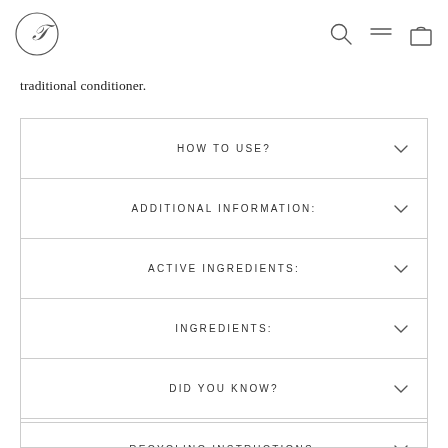Logo and navigation icons (search, menu, bag)
traditional conditioner.
HOW TO USE?
ADDITIONAL INFORMATION:
ACTIVE INGREDIENTS:
INGREDIENTS:
DID YOU KNOW?
RECYCLING INSTRUCTIONS: